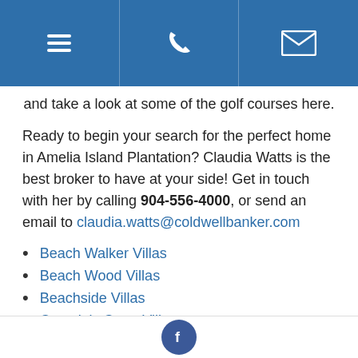[Figure (other): Blue header navigation bar with three icons: hamburger menu, phone, and envelope/email]
and take a look at some of the golf courses here.
Ready to begin your search for the perfect home in Amelia Island Plantation? Claudia Watts is the best broker to have at your side! Get in touch with her by calling 904-556-4000, or send an email to claudia.watts@coldwellbanker.com
Beach Walker Villas
Beach Wood Villas
Beachside Villas
Captain's Court Villas
Club Villas
Courtside Villas
Dunes Club Villas
Facebook icon footer